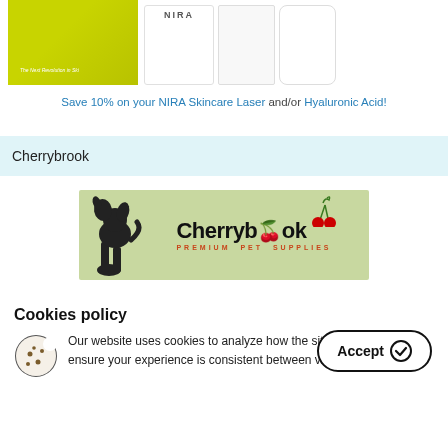[Figure (photo): Product images showing NIRA skincare box, white tube with NIRA label, skincare bottle, and a white device partially visible]
Save 10% on your NIRA Skincare Laser and/or Hyaluronic Acid!
Cherrybrook
[Figure (logo): Cherrybrook Premium Pet Supplies logo with dog silhouette and cherry graphic on green background]
Cookies policy
Our website uses cookies to analyze how the site is used and to ensure your experience is consistent between visits.